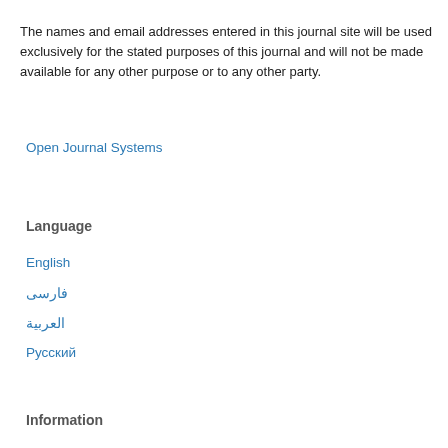The names and email addresses entered in this journal site will be used exclusively for the stated purposes of this journal and will not be made available for any other purpose or to any other party.
Open Journal Systems
Language
English
فارسی
العربية
Русский
Information